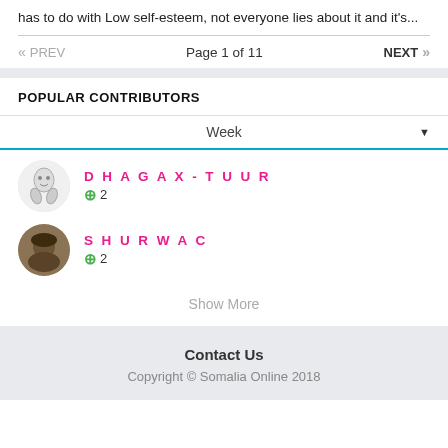has to do with Low self-esteem, not everyone lies about it and it's...
« PREV   Page 1 of 11   NEXT »
POPULAR CONTRIBUTORS
Week
DHAGAX-TUUR +2
SHURWAC +2
Show More
Contact Us
Copyright © Somalia Online 2018